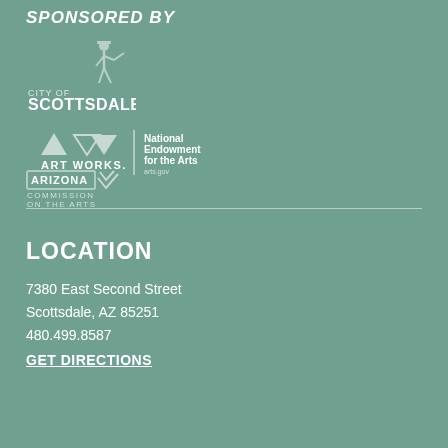SPONSORED BY
[Figure (logo): City of Scottsdale logo with figure and text]
[Figure (logo): Art Works logo (NEA) with triangles and ART WORKS. text, plus National Endowment for the Arts logo]
[Figure (logo): Arizona Commission on the Arts logo]
LOCATION
7380 East Second Street
Scottsdale, AZ 85251
480.499.8587
GET DIRECTIONS